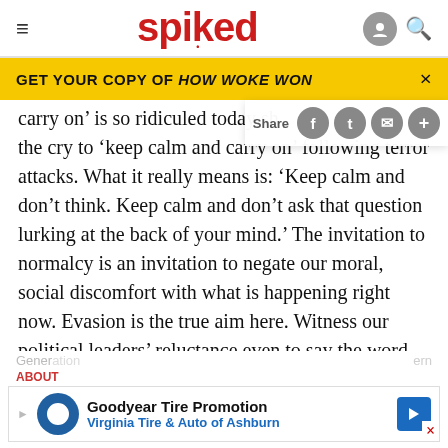spiked
GET YOUR COPY OF HOW WOKE WON
carry on’ is so ridiculed today sh… the cry to ‘keep calm and carry on’ following terror attacks. What it really means is: ‘Keep calm and don’t think. Keep calm and don’t ask that question lurking at the back of your mind.’ The invitation to normalcy is an invitation to negate our moral, social discomfort with what is happening right now. Evasion is the true aim here. Witness our political leaders’ reluctance even to say the word ‘Islamist’ during last week’s
Goodyear Tire Promotion
Virginia Tire & Auto of Ashburn